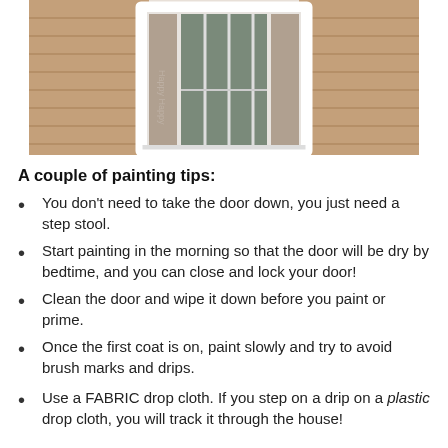[Figure (photo): Photo of a white house front door with glass panels, flanked by brown wood siding. The door has multiple vertical glass panes and is set against horizontal wooden siding.]
A couple of painting tips:
You don't need to take the door down, you just need a step stool.
Start painting in the morning so that the door will be dry by bedtime, and you can close and lock your door!
Clean the door and wipe it down before you paint or prime.
Once the first coat is on, paint slowly and try to avoid brush marks and drips.
Use a FABRIC drop cloth. If you step on a drip on a plastic drop cloth, you will track it through the house!